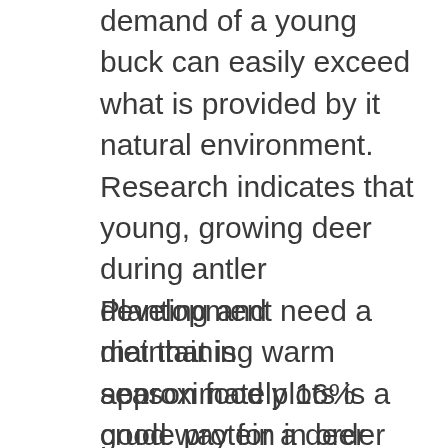demand of a young buck can easily exceed what is provided by it natural environment. Research indicates that young, growing deer during antler development need a diet that is approximately 16% crude protein in order to maximize antler growth. Mature bucks can maximize antler growth with as little as 10% crude protein.
Planting and maintaining warm season food plots is a good way for a deer herd manager to help prevent any nutritional limitations to antler growth. Food plots are often thought of in terms of their ability to attract deer to a specific location during hunting season. However, if properly utilized food plots can have a lasting positive effect on an area's deer herd and other wildlife.